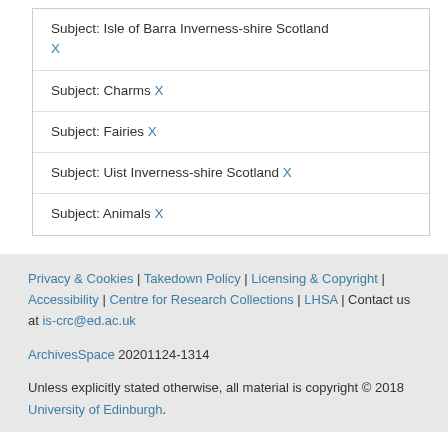Subject: Isle of Barra Inverness-shire Scotland X
Subject: Charms X
Subject: Fairies X
Subject: Uist Inverness-shire Scotland X
Subject: Animals X
Privacy & Cookies | Takedown Policy | Licensing & Copyright | Accessibility | Centre for Research Collections | LHSA | Contact us at is-crc@ed.ac.uk

ArchivesSpace 20201124-1314

Unless explicitly stated otherwise, all material is copyright © 2018 University of Edinburgh.